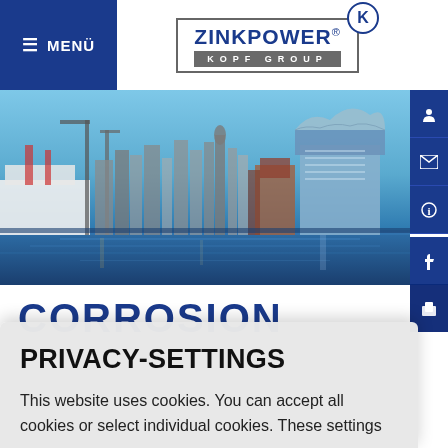≡ MENÜ | ZINKPOWER® KOPF GROUP
[Figure (photo): Hamburg harbor cityscape at dusk/night with Elbphilharmonie visible on the right, ships on the left, blue water in foreground]
CORROSION
PRIVACY-SETTINGS
This website uses cookies. You can accept all cookies or select individual cookies. These settings